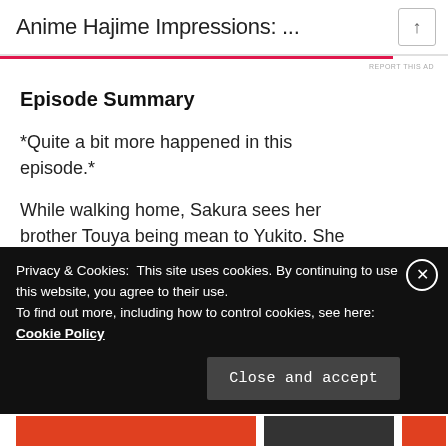Anime Hajime Impressions: ...
Episode Summary
*Quite a bit more happened in this episode.*
While walking home, Sakura sees her brother Touya being mean to Yukito. She runs in to stop the conflict only to find out the two are filming a
Privacy & Cookies: This site uses cookies. By continuing to use this website, you agree to their use.
To find out more, including how to control cookies, see here: Cookie Policy
Close and accept